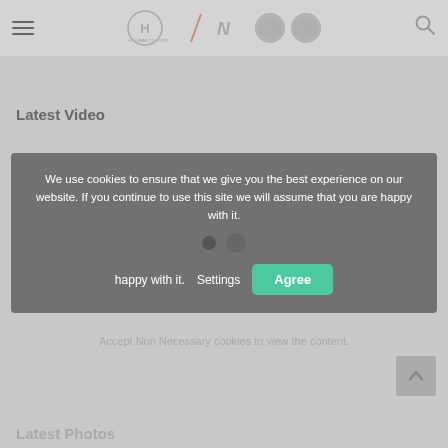[Figure (screenshot): Hyundai Motorsport website header with hamburger menu, Hyundai Motorsport logo, N brand logo, two award badges, and search icon]
Latest Video
We use cookies to ensure that we give you the best experience on our website. If you continue to use this site we will assume that you are happy with it.
Accept Non Necessary cookies to view the content.
Latest Photos